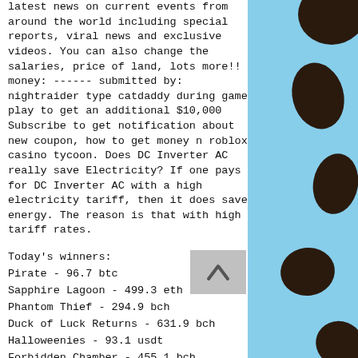latest news on current events from around the world including special reports, viral news and exclusive videos. You can also change the salaries, price of land, lots more!! money: ------ submitted by: nightraider type catdaddy during game play to get an additional $10,000
Subscribe to get notification about new coupon, how to get money n roblox casino tycoon. Does DC Inverter AC really save Electricity? If one pays for DC Inverter AC with a high electricity tariff, then it does save energy. The reason is that with high tariff rates.
Today's winners:
Pirate - 96.7 btc
Sapphire Lagoon - 499.3 eth
Phantom Thief - 294.9 bch
Duck of Luck Returns - 631.9 bch
Halloweenies - 93.1 usdt
Forbidden Chamber - 455.1 bch
[Figure (illustration): Right side panel with light blue background and black cow spots/blobs pattern]